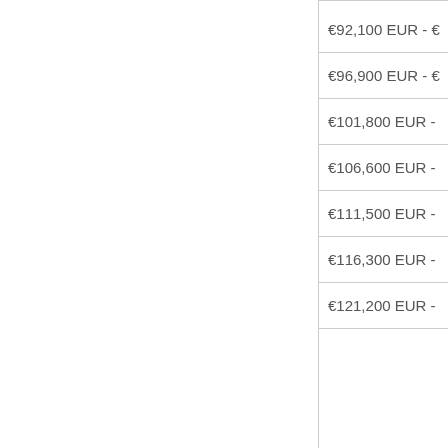| €92,100 EUR - € |
| €96,900 EUR - € |
| €101,800 EUR - |
| €106,600 EUR - |
| €111,500 EUR - |
| €116,300 EUR - |
| €121,200 EUR - |